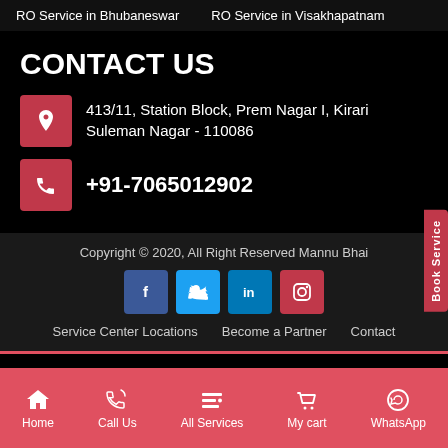RO Service in Bhubaneswar   RO Service in Visakhapatnam
CONTACT US
413/11, Station Block, Prem Nagar I, Kirari Suleman Nagar - 110086
+91-7065012902
Copyright © 2020, All Right Reserved Mannu Bhai
Service Center Locations   Become a Partner   Contact
Home   Call Us   All Services   My cart   WhatsApp